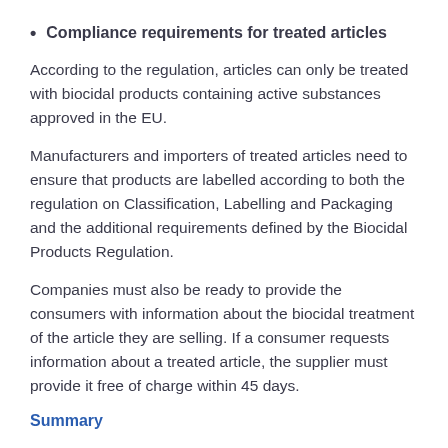Compliance requirements for treated articles
According to the regulation, articles can only be treated with biocidal products containing active substances approved in the EU.
Manufacturers and importers of treated articles need to ensure that products are labelled according to both the regulation on Classification, Labelling and Packaging and the additional requirements defined by the Biocidal Products Regulation.
Companies must also be ready to provide the consumers with information about the biocidal treatment of the article they are selling. If a consumer requests information about a treated article, the supplier must provide it free of charge within 45 days.
Summary